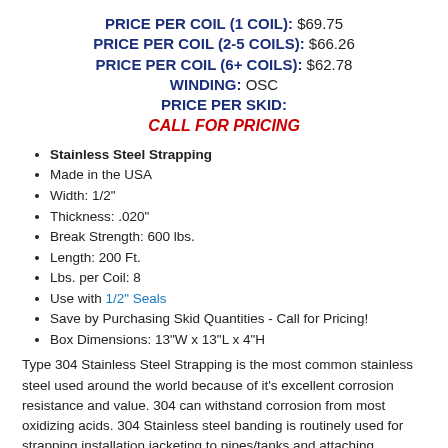PRICE PER COIL (1 COIL): $69.75
PRICE PER COIL (2-5 COILS): $66.26
PRICE PER COIL (6+ COILS): $62.78
WINDING: OSC
PRICE PER SKID:
CALL FOR PRICING
Stainless Steel Strapping
Made in the USA
Width: 1/2"
Thickness: .020"
Break Strength: 600 lbs.
Length: 200 Ft.
Lbs. per Coil: 8
Use with 1/2" Seals
Save by Purchasing Skid Quantities - Call for Pricing!
Box Dimensions: 13"W x 13"L x 4"H
Type 304 Stainless Steel Strapping is the most common stainless steel used around the world because of it's excellent corrosion resistance and value. 304 can withstand corrosion from most oxidizing acids. 304 Stainless steel banding is routinely used for strapping installation jacketing to pipes/tanks and attaching lightweight signs/advertising materials to columns or posts.